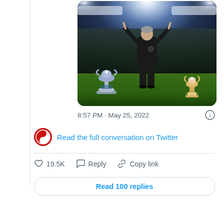[Figure (photo): A football manager in black jacket standing on a pitch in a stadium with arms raised, two trophies (Champions League and Europa League) on the grass in front of him, crowd and stadium lights in background.]
8:57 PM · May 25, 2022
Read the full conversation on Twitter
19.5K  Reply  Copy link
Read 100 replies